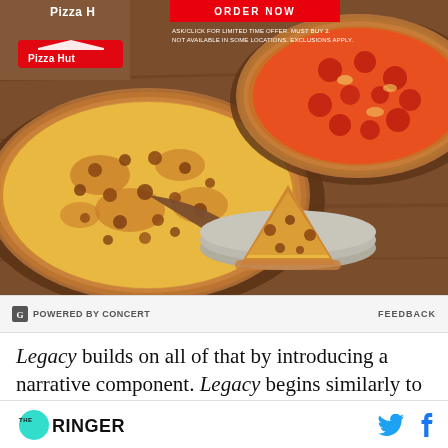[Figure (photo): Pizza Hut advertisement showing two full pizzas on wooden boards and a single slice on a plate on a wooden table surface. A red ORDER NOW button appears at the top center with small disclaimer text. Pizza Hut logo and box visible top-left.]
POWERED BY CONCERT
FEEDBACK
Legacy builds on all of that by introducing a narrative component. Legacy begins similarly to Pandemic, with players working to cure four
THE RINGER